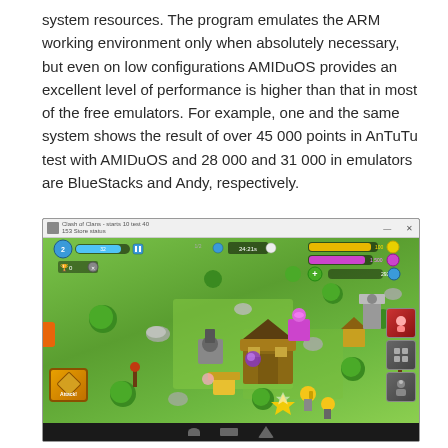system resources. The program emulates the ARM working environment only when absolutely necessary, but even on low configurations AMIDuOS provides an excellent level of performance is higher than that in most of the free emulators. For example, one and the same system shows the result of over 45 000 points in AnTuTu test with AMIDuOS and 28 000 and 31 000 in emulators are BlueStacks and Andy, respectively.
[Figure (screenshot): A screenshot of the AMIDuOS Android emulator running the mobile game Clash of Clans. The window shows a game village with green grass, various buildings and characters, a HUD with resource bars (gold and elixir), gem count, trophy display, and navigation buttons at the bottom. An Attack button is visible in the lower left, and action buttons are on the lower right.]